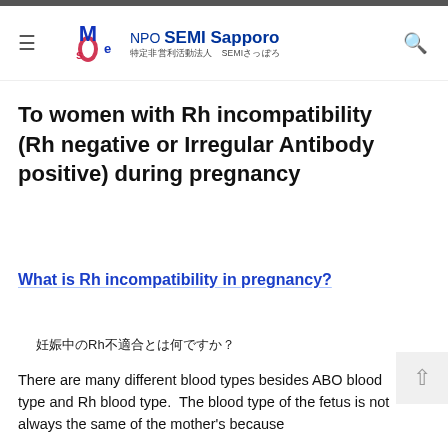NPO SEMI Sapporo 特定非営利活動法人 SEMIさっぽろ
To women with Rh incompatibility (Rh negative or Irregular Antibody positive) during pregnancy
What is Rh incompatibility in pregnancy?
妊娠中のRh不適合とは何ですか？
There are many different blood types besides ABO blood type and Rh blood type. The blood type of the fetus is not always the same of the mother's because